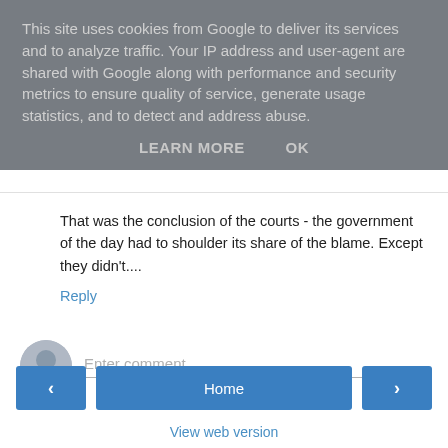This site uses cookies from Google to deliver its services and to analyze traffic. Your IP address and user-agent are shared with Google along with performance and security metrics to ensure quality of service, generate usage statistics, and to detect and address abuse.
LEARN MORE    OK
That was the conclusion of the courts - the government of the day had to shoulder its share of the blame. Except they didn't....
Reply
Enter comment
Home
View web version